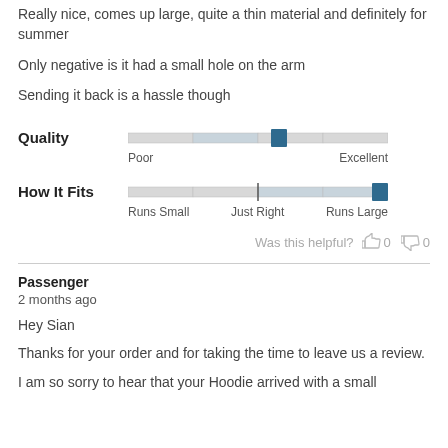Really nice, comes up large, quite a thin material and definitely for summer
Only negative is it had a small hole on the arm
Sending it back is a hassle though
[Figure (infographic): Quality rating slider with thumb positioned at approximately 58% between Poor and Excellent]
[Figure (infographic): How It Fits slider with thumb positioned at far right (Runs Large), center tick mark at Just Right]
Was this helpful? 👍 0 👎 0
Passenger
2 months ago
Hey Sian
Thanks for your order and for taking the time to leave us a review.
I am so sorry to hear that your Hoodie arrived with a small